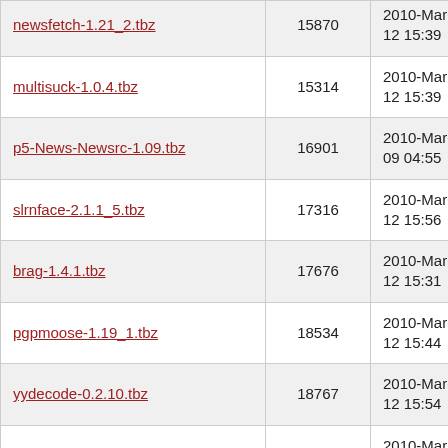| Filename | Size | Date |
| --- | --- | --- |
| newsfetch-1.21_2.tbz | 15870 | 2010-Mar-12 15:39 |
| multisuck-1.0.4.tbz | 15314 | 2010-Mar-12 15:39 |
| p5-News-Newsrc-1.09.tbz | 16901 | 2010-Mar-09 04:55 |
| slrnface-2.1.1_5.tbz | 17316 | 2010-Mar-12 15:56 |
| brag-1.4.1.tbz | 17676 | 2010-Mar-12 15:31 |
| pgpmoose-1.19_1.tbz | 18534 | 2010-Mar-12 15:44 |
| yydecode-0.2.10.tbz | 18767 | 2010-Mar-12 15:54 |
| plor-0.3.3_1.tbz | 19042 | 2010-Mar-12 15:54 |
| c-nocem-3.7_3.tbz | 19861 | 2010-Mar-22 11:10 |
| p5-POE-Component-Server-NNTP-1.04.tbz | 20863 | 2010-Mar-12 15:52 |
| py26-yenc-0.3.tbz | 21099 | 2010-Mar-08 02:09 |